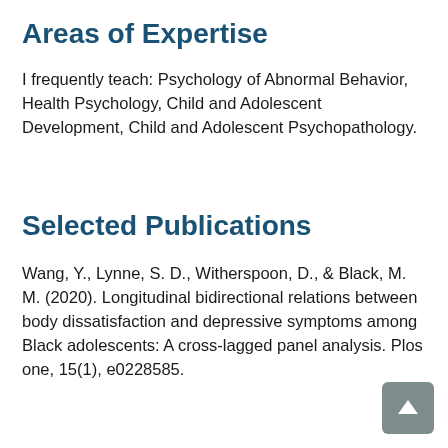Areas of Expertise
I frequently teach: Psychology of Abnormal Behavior, Health Psychology, Child and Adolescent Development, Child and Adolescent Psychopathology.
Selected Publications
Wang, Y., Lynne, S. D., Witherspoon, D., & Black, M. M. (2020). Longitudinal bidirectional relations between body dissatisfaction and depressive symptoms among Black adolescents: A cross-lagged panel analysis. Plos one, 15(1), e0228585.